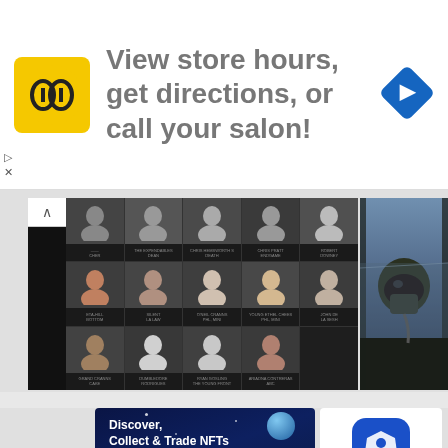[Figure (screenshot): Top ad banner: HC (Hair Club) logo in yellow square, text 'View store hours, get directions, or call your salon!', blue navigation diamond icon, skip/close controls]
[Figure (screenshot): Cast grid of black-and-white actor headshots on dark background (movie cast listing)]
[Figure (screenshot): Top Gun: Maverick movie still showing pilot in cockpit with oxygen mask]
[Figure (screenshot): Crypto.com NFT app advertisement: dark blue background with space theme, text 'Discover, Collect & Trade NFTs right within the App', 'Get Started with Crypto.com NFT', crypto.com logo, App Store and Google Play badges]
[Figure (screenshot): Crypto.com app card: blue hexagonal shield icon, text 'Crypto.com - Buy Bi...', '5 free']